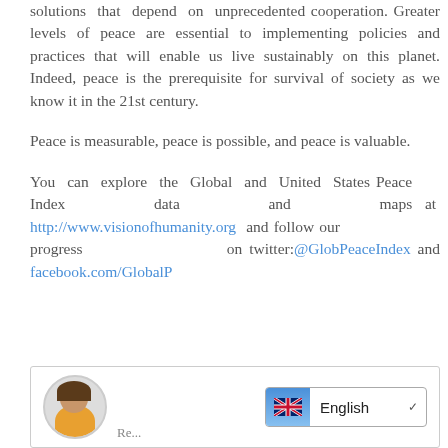solutions that depend on unprecedented cooperation. Greater levels of peace are essential to implementing policies and practices that will enable us live sustainably on this planet. Indeed, peace is the prerequisite for survival of society as we know it in the 21st century.
Peace is measurable, peace is possible, and peace is valuable.
You can explore the Global and United States Peace Index data and maps at http://www.visionofhumanity.org and follow our progress on twitter:@GlobPeaceIndex and facebook.com/GlobalP
[Figure (screenshot): Bottom UI bar with a circular avatar photo of a person in orange clothing, and a language selector dropdown showing English with UK flag]